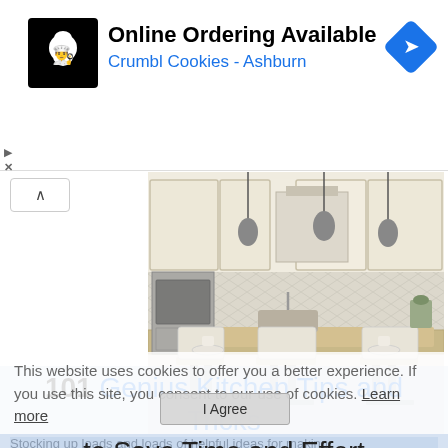[Figure (screenshot): Ad banner: Online Ordering Available - Crumbl Cookies - Ashburn, with chef logo and blue navigation diamond icon]
[Figure (photo): Kitchen interior photo showing white cabinets, pendant lights, herringbone backsplash, granite island with bar stools]
This website uses cookies to offer you a better experience. If you use this site, you consent to our use of cookies. Learn more
101 Genius Kitchen Tips and Tricks to Save Time and Effort
Stocking up loads and loads of helpful ideas for making